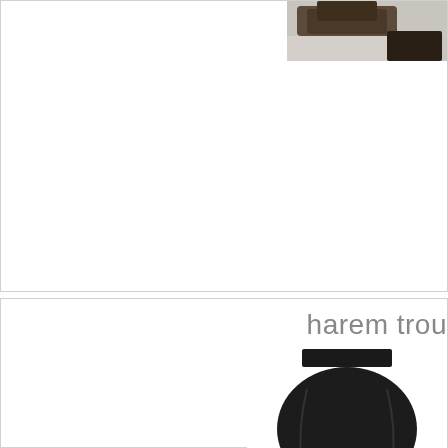[Figure (photo): Partial view of a fashion/clothing product image at top right, showing dark colored garment]
harem trou
[Figure (photo): Harem trousers product photo showing black harem pants from the front]